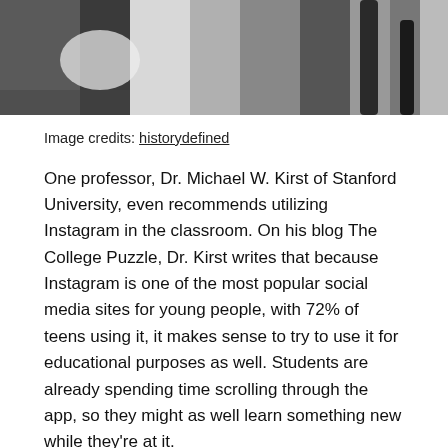[Figure (photo): Black and white photograph strip at the top of the page]
Image credits: historydefined
One professor, Dr. Michael W. Kirst of Stanford University, even recommends utilizing Instagram in the classroom. On his blog The College Puzzle, Dr. Kirst writes that because Instagram is one of the most popular social media sites for young people, with 72% of teens using it, it makes sense to try to use it for educational purposes as well. Students are already spending time scrolling through the app, so they might as well learn something new while they’re at it.
Dr. Kirst mentions that Instagram also helps develop creativity, as users are always trying to think of new ideas for posts. Students always face some method of...